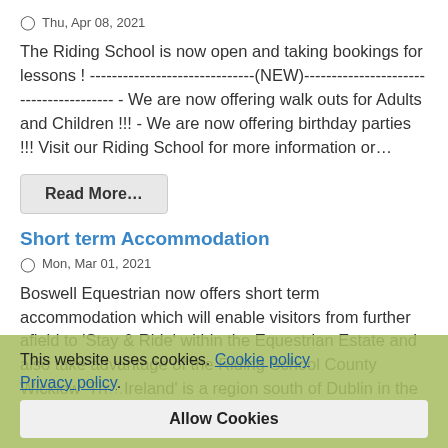Thu, Apr 08, 2021
The Riding School is now open and taking bookings for lessons ! -----------------------------(NEW)--------------------------------- - We are now offering walk outs for Adults and Children !!! - We are now offering birthday parties !!! Visit our Riding School for more information or...
Read More...
Short term Accommodation
Mon, Mar 01, 2021
Boswell Equestrian now offers short term accommodation which will enable visitors from further afield to 'Stay & Ride' within the Equestrian Estate and also take advantage of the Riding School County Wicklow 'Th...Ireland' is a region south of Dublin in the east of Ireland. It's known for...
This website uses cookies. Cookie policy Privacy policy
Allow Cookies